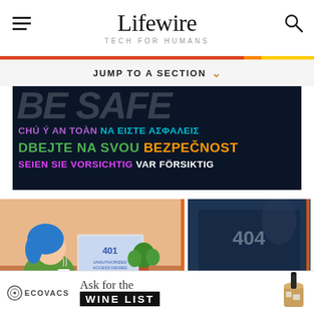Lifewire TECH FOR HUMANS
JUMP TO A SECTION
[Figure (illustration): Dark blue banner with multilingual 'Be Safe' text in various colors: purple/cyan, green, magenta/white]
[Figure (illustration): Illustration of a person with blue hair looking at a laptop showing 401 unauthorized error]
[Figure (photo): Photo of a laptop screen showing a 404 error page]
[Figure (other): Ecovacs advertisement: Ask for the WINE LIST]